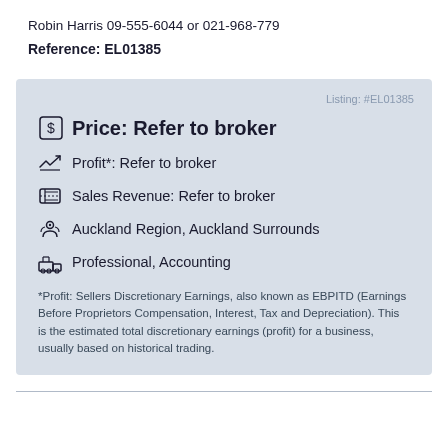Robin Harris 09-555-6044 or 021-968-779
Reference: EL01385
Listing: #EL01385
Price: Refer to broker
Profit*: Refer to broker
Sales Revenue: Refer to broker
Auckland Region, Auckland Surrounds
Professional, Accounting
*Profit: Sellers Discretionary Earnings, also known as EBPITD (Earnings Before Proprietors Compensation, Interest, Tax and Depreciation). This is the estimated total discretionary earnings (profit) for a business, usually based on historical trading.